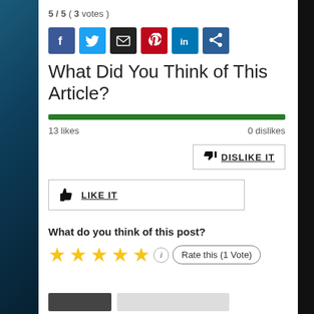5 / 5 ( 3 votes )
[Figure (infographic): Social sharing icons: Facebook (blue), Twitter (light blue), Email (dark/black), Pinterest (red), LinkedIn (blue), Share (dark blue)]
What Did You Think of This Article?
[Figure (infographic): Green progress/rating bar showing 100% likes]
13 likes    0 dislikes
[Figure (infographic): DISLIKE IT button with thumbs down icon]
[Figure (infographic): LIKE IT button with thumbs up icon]
What do you think of this post?
[Figure (infographic): 5 yellow stars rating widget with info circle and 'Rate this (1 Vote)' button]